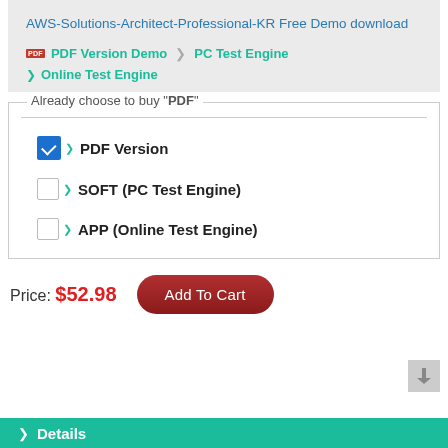AWS-Solutions-Architect-Professional-KR Free Demo download
PDF Version Demo  PC Test Engine  Online Test Engine
Already choose to buy "PDF"
PDF Version (checked)
SOFT (PC Test Engine)
APP (Online Test Engine)
Price: $52.98  Add To Cart
Details